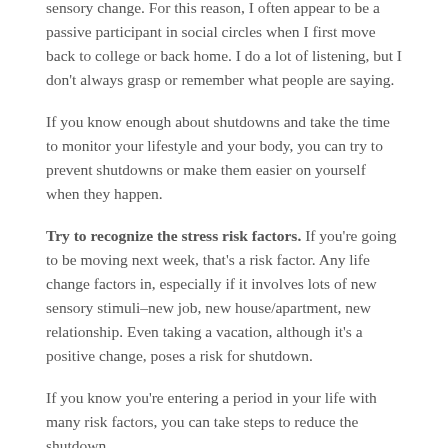sensory change. For this reason, I often appear to be a passive participant in social circles when I first move back to college or back home. I do a lot of listening, but I don't always grasp or remember what people are saying.
If you know enough about shutdowns and take the time to monitor your lifestyle and your body, you can try to prevent shutdowns or make them easier on yourself when they happen.
Try to recognize the stress risk factors. If you're going to be moving next week, that's a risk factor. Any life change factors in, especially if it involves lots of new sensory stimuli–new job, new house/apartment, new relationship. Even taking a vacation, although it's a positive change, poses a risk for shutdown.
If you know you're entering a period in your life with many risk factors, you can take steps to reduce the shutdown...